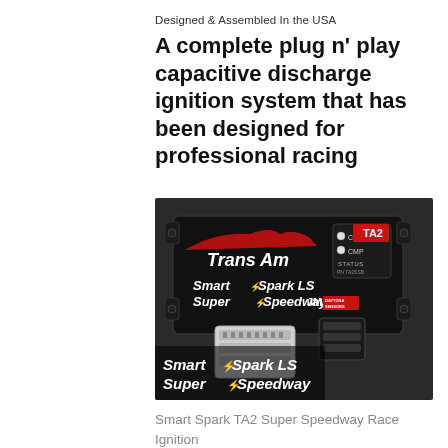Designed & Assembled In the USA
A complete plug n' play capacitive discharge ignition system that has been designed for professional racing
[Figure (photo): Trans Am Smart Spark LS Super Speedway ignition control module by JMS Daytona Sensors — black rectangular device with CKP/CMP/STATUS indicators, TA2 label, white multi-pin connector and black connector plugged in. Text overlay reads 'Smart Spark LS Super Speedway' in white italic bold lettering with red lightning bolt.]
Smart Spark TA2 Super Speedway Race Ignition
Smart Spark TA2 Super Speedway: Supports